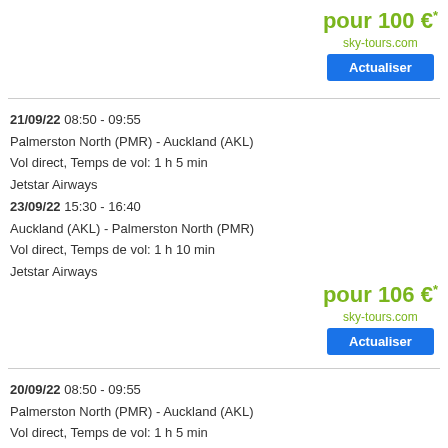pour 100 €* sky-tours.com Actualiser
21/09/22 08:50 - 09:55
Palmerston North (PMR) - Auckland (AKL)
Vol direct, Temps de vol: 1 h 5 min
Jetstar Airways
23/09/22 15:30 - 16:40
Auckland (AKL) - Palmerston North (PMR)
Vol direct, Temps de vol: 1 h 10 min
Jetstar Airways
pour 106 €* sky-tours.com Actualiser
20/09/22 08:50 - 09:55
Palmerston North (PMR) - Auckland (AKL)
Vol direct, Temps de vol: 1 h 5 min
Jetstar Airways